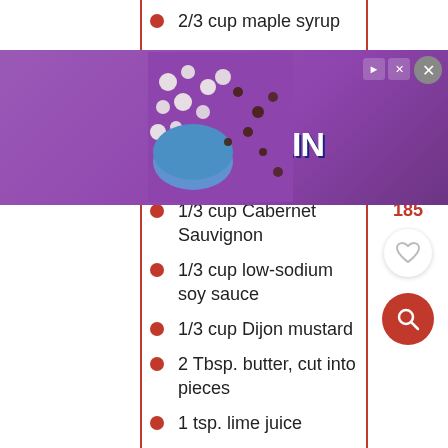2/3 cup maple syrup
[Figure (photo): Advertisement banner for CLIF KID protein bar with purple background, chocolate chips and white chips visible, CLIF KID ZBAR PROTEIN COOKIES 'N CREME product shown]
1/3 cup Cabernet Sauvignon
1/3 cup low-sodium soy sauce
1/3 cup Dijon mustard
2 Tbsp. butter, cut into pieces
1 tsp. lime juice
For the Cucumber and Sesame Salad
1 Tbsp. lime juice
1 Tbsp. vegetable or grape seed oil, plus more for frying the wontons